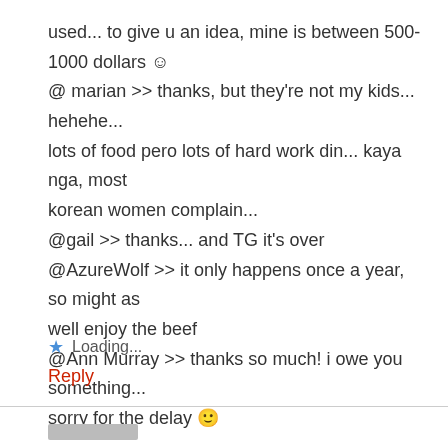used... to give u an idea, mine is between 500-1000 dollars ☺
@ marian >> thanks, but they're not my kids... hehehe... lots of food pero lots of hard work din... kaya nga, most korean women complain...
@gail >> thanks... and TG it's over
@AzureWolf >> it only happens once a year, so might as well enjoy the beef
@Ann Murray >> thanks so much! i owe you something... sorry for the delay 🙂
Loading...
Reply